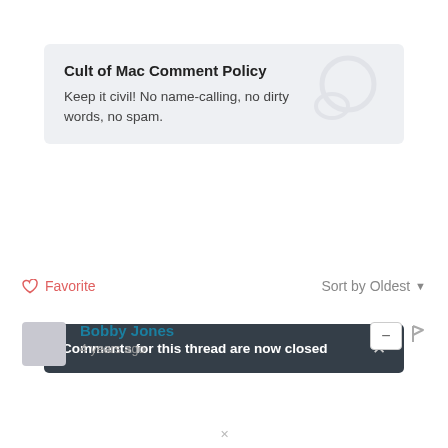Cult of Mac Comment Policy
Keep it civil! No name-calling, no dirty words, no spam.
Comments for this thread are now closed
Comments   Community   🔒   1   Login
Favorite   Sort by Oldest
Bobby Jones
4 years ago